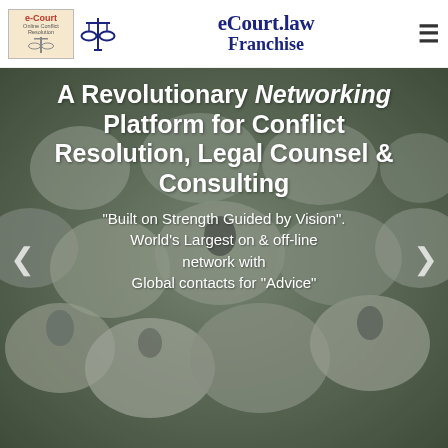[Figure (logo): e-Court Online Conflict Resolution logo box with scales of justice icon]
eCourt.law Franchise
[Figure (photo): Large crowd of sheep filling the background image]
A Revolutionary Networking Platform for Conflict Resolution, Legal Counsel & Consulting
"Built on Strength Guided by Vision". World's Largest on & off-line network with Global contacts for "Advice"